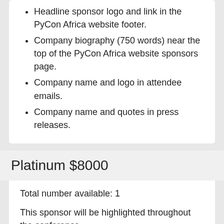Headline sponsor logo and link in the PyCon Africa website footer.
Company biography (750 words) near the top of the PyCon Africa website sponsors page.
Company name and logo in attendee emails.
Company name and quotes in press releases.
Platinum $8000
Total number available: 1
This sponsor will be highlighted throughout the conference.
Highlights of this package:
Exhibit space within the conference venue.
Two pull-up banners in the main conference room